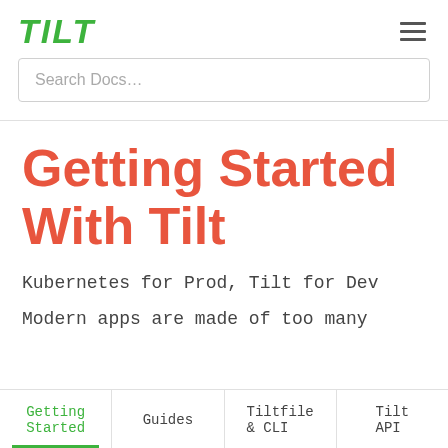TILT
Search Docs…
Getting Started With Tilt
Kubernetes for Prod, Tilt for Dev
Modern apps are made of too many
Getting Started
Guides
Tiltfile & CLI
Tilt API